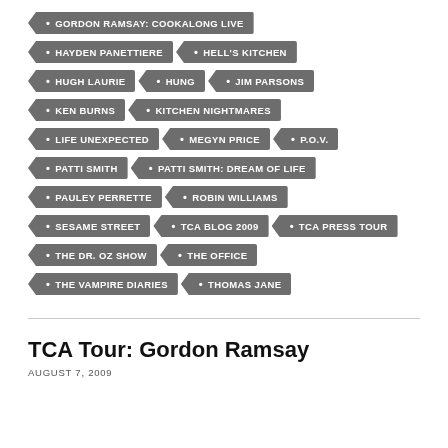GORDON RAMSAY: COOKALONG LIVE
HAYDEN PANETTIERE
HELL'S KITCHEN
HUGH LAURIE
HUNG
JIM PARSONS
KEN BURNS
KITCHEN NIGHTMARES
LIFE UNEXPECTED
MEGYN PRICE
P.O.V.
PATTI SMITH
PATTI SMITH: DREAM OF LIFE
PAULEY PERRETTE
ROBIN WILLIAMS
SESAME STREET
TCA BLOG 2009
TCA PRESS TOUR
THE DR. OZ SHOW
THE OFFICE
THE VAMPIRE DIARIES
THOMAS JANE
TCA Tour: Gordon Ramsay
AUGUST 7, 2009